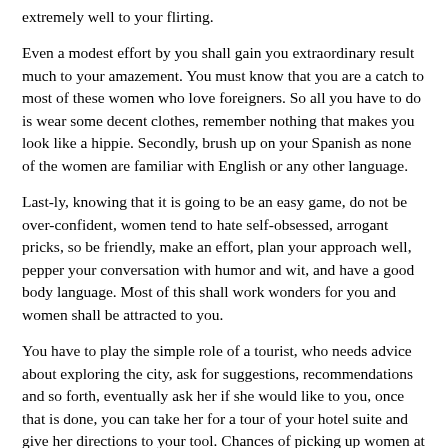extremely well to your flirting.
Even a modest effort by you shall gain you extraordinary result much to your amazement. You must know that you are a catch to most of these women who love foreigners. So all you have to do is wear some decent clothes, remember nothing that makes you look like a hippie. Secondly, brush up on your Spanish as none of the women are familiar with English or any other language.
Last-ly, knowing that it is going to be an easy game, do not be over-confident, women tend to hate self-obsessed, arrogant pricks, so be friendly, make an effort, plan your approach well, pepper your conversation with humor and wit, and have a good body language. Most of this shall work wonders for you and women shall be attracted to you.
You have to play the simple role of a tourist, who needs advice about exploring the city, ask for suggestions, recommendations and so forth, eventually ask her if she would like to you, once that is done, you can take her for a tour of your hotel suite and give her directions to your tool. Chances of picking up women at daytime are great as most of the women feel safe and comfortable being approached by stranger men. More than this, the opportunities are aplenty as most conservative women are also seen outside at this hour, socializing with friends and acquaintances. These women El